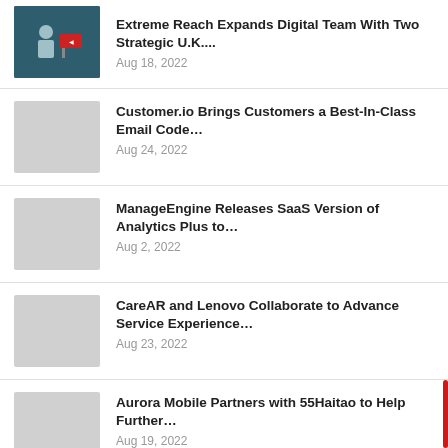Extreme Reach Expands Digital Team With Two Strategic U.K....
Aug 18, 2022
Customer.io Brings Customers a Best-In-Class Email Code…
Aug 24, 2022
ManageEngine Releases SaaS Version of Analytics Plus to…
Aug 2, 2022
CareAR and Lenovo Collaborate to Advance Service Experience…
Aug 23, 2022
Aurora Mobile Partners with 55Haitao to Help Further…
Aug 19, 2022